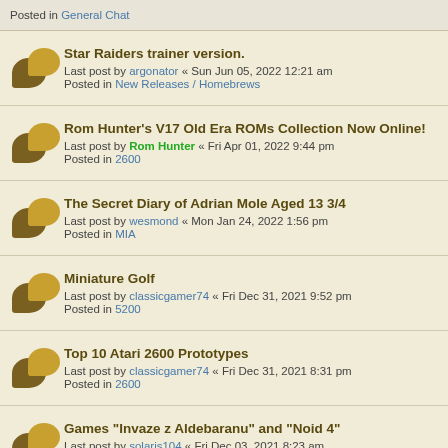Posted in General Chat
Star Raiders trainer version.
Last post by argonator « Sun Jun 05, 2022 12:21 am
Posted in New Releases / Homebrews
Rom Hunter's V17 Old Era ROMs Collection Now Online!
Last post by Rom Hunter « Fri Apr 01, 2022 9:44 pm
Posted in 2600
The Secret Diary of Adrian Mole Aged 13 3/4
Last post by wesmond « Mon Jan 24, 2022 1:56 pm
Posted in MIA
Miniature Golf
Last post by classicgamer74 « Fri Dec 31, 2021 9:52 pm
Posted in 5200
Top 10 Atari 2600 Prototypes
Last post by classicgamer74 « Fri Dec 31, 2021 8:31 pm
Posted in 2600
Games "Invaze z Aldebaranu" and "Noid 4"
Last post by solaris104 « Fri Dec 03, 2021 8:23 am
Posted in MIA
FTP server offline?